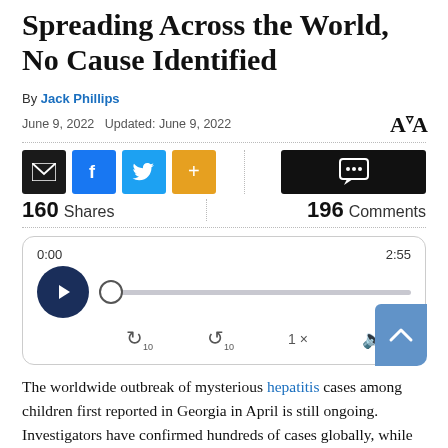Spreading Across the World, No Cause Identified
By Jack Phillips
June 9, 2022   Updated: June 9, 2022
[Figure (infographic): Social sharing buttons: email (black), Facebook (blue), Twitter (light blue), more (orange). Comment button (black). Shows 160 Shares and 196 Comments.]
[Figure (infographic): Audio player widget showing 0:00 / 2:55 time, play button, progress bar, rewind 10s, forward 10s, 1x speed, and volume controls. Scroll-to-top button in lower right.]
The worldwide outbreak of mysterious hepatitis cases among children first reported in Georgia in April is still ongoing. Investigators have confirmed hundreds of cases globally, while officials in more U.S. states